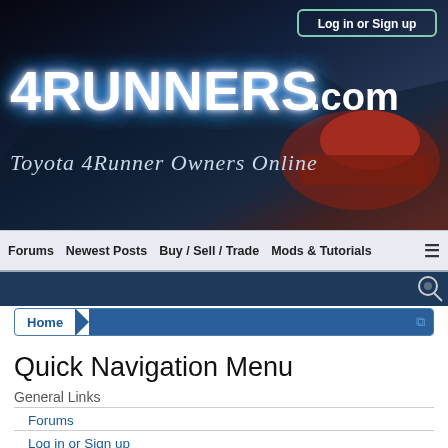[Figure (screenshot): 4Runners.com website banner with Toyota 4Runner in background, showing logo text '4RUNNERS.com' and subtitle 'Toyota 4Runner Owners Online', with 'Log in or Sign up' button in top right]
Forums  Newest Posts  Buy / Sell / Trade  Mods & Tutorials  ≡
Home
Quick Navigation Menu
General Links
Forums
Log in or Sign up
Help
Forum List